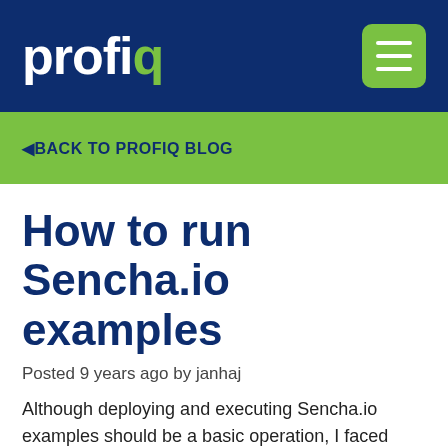profiq [logo with menu icon]
◄ BACK TO PROFIQ BLOG
How to run Sencha.io examples
Posted 9 years ago by janhaj
Although deploying and executing Sencha.io examples should be a basic operation, I faced some difficulties when setting them up